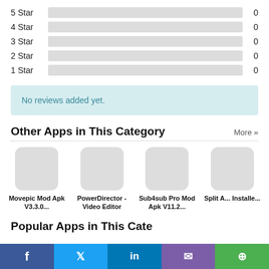[Figure (bar-chart): Star ratings]
No reviews added yet.
Other Apps in This Category
More »
[Figure (other): App icons row: Movepic Mod Apk V3.3.0..., PowerDirector - Video Editor, Sub4sub Pro Mod Apk V11.2..., Split A... Installe...]
Movepic Mod Apk V3.3.0...
PowerDirector - Video Editor
Sub4sub Pro Mod Apk V11.2...
Split A... Installe...
Popular Apps in This Cate...